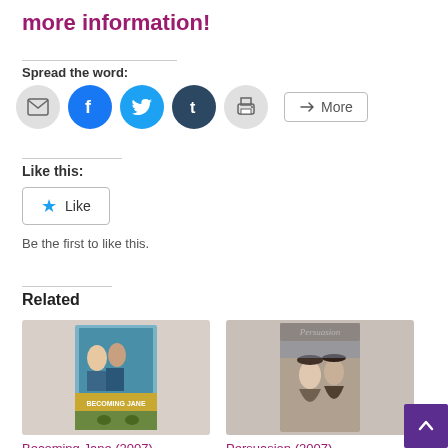more information!
Spread the word:
[Figure (infographic): Social sharing icons: email, Facebook, Twitter, Tumblr, Print, and a More button]
Like this:
[Figure (infographic): Like button with a star icon]
Be the first to like this.
Related
[Figure (photo): Becoming Jane (2007) movie poster thumbnail]
Becoming Jane (2007)
In "Biopics"
[Figure (photo): Persuasion (2007) movie/TV poster thumbnail]
Persuasion (2007)
In "TV Reviews"